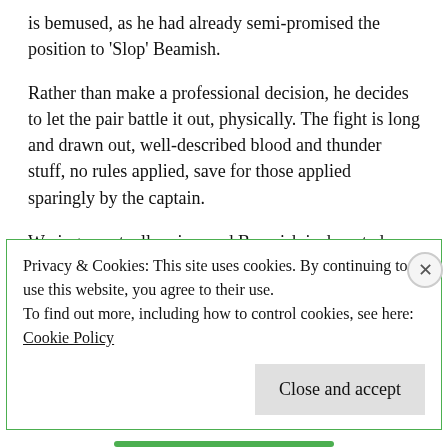is bemused, as he had already semi-promised the position to 'Slop' Beamish.
Rather than make a professional decision, he decides to let the pair battle it out, physically. The fight is long and drawn out, well-described blood and thunder stuff, no rules applied, save for those applied sparingly by the captain.
Waring eventually wins, and Beamish is demoted. Despite all that, Waring smells a rat and realizes that his position aboard is mere courtesy. He's certain that Johnson intends to play foul by the Langs. Remarkably, the Langs are hardly novices to this sly game, realizing entirely that Johnson is leading them astray at sea. The professor, among other things, is
Privacy & Cookies: This site uses cookies. By continuing to use this website, you agree to their use.
To find out more, including how to control cookies, see here: Cookie Policy